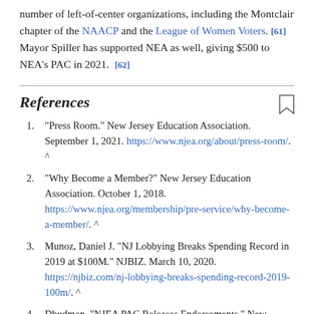number of left-of-center organizations, including the Montclair chapter of the NAACP and the League of Women Voters. [61] Mayor Spiller has supported NEA as well, giving $500 to NEA's PAC in 2021. [62]
References
"Press Room." New Jersey Education Association. September 1, 2021. https://www.njea.org/about/press-room/. ^
"Why Become a Member?" New Jersey Education Association. October 1, 2018. https://www.njea.org/membership/pre-service/why-become-a-member/. ^
Munoz, Daniel J. "NJ Lobbying Breaks Spending Record in 2019 at $100M." NJBIZ. March 10, 2020. https://njbiz.com/nj-lobbying-breaks-spending-record-2019-100m/. ^
Dbudman. "NJEA PAC Releases Endorsements." New Jersey